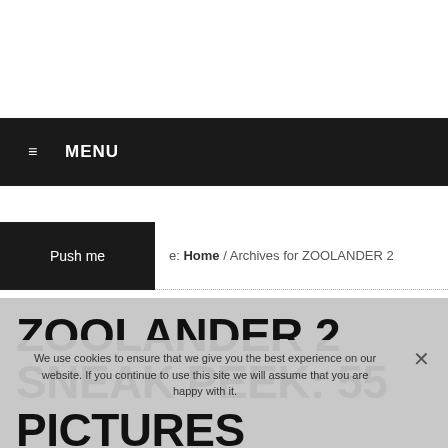≡ MENU
Home / Archives for ZOOLANDER 2
ZOOLANDER 2 SNEAK PEEK: 55 PICTURES INCLUDING BEHIND THE SCENES
We use cookies to ensure that we give you the best experience on our website. If you continue to use this site we will assume that you are happy with it.